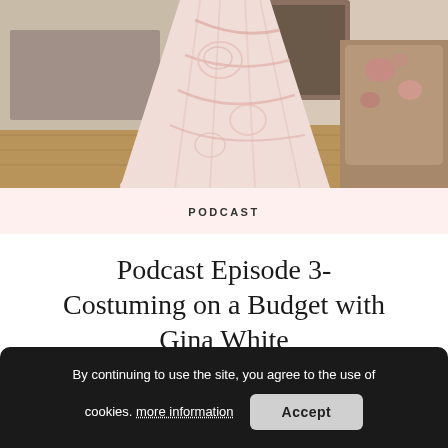[Figure (photo): A light pink/blush wedding dress or gown with embroidered floral details and a train, displayed in a home setting with a fireplace and floral armchair visible in the background]
PODCAST
Podcast Episode 3- Costuming on a Budget with Gina White
JULY 30, 2018
By continuing to use the site, you agree to the use of cookies. more information  Accept